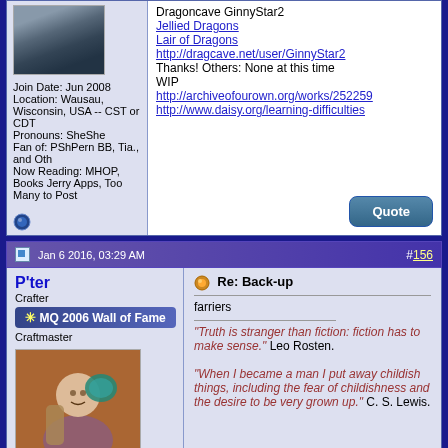Join Date: Jun 2008
Location: Wausau, Wisconsin, USA -- CST or CDT
Pronouns: SheShe
Fan of: PShPern BB, Tia., and Oth
Now Reading: MHOP, Books Jerry Apps, Too Many to Post
Dragoncave GinnyStar2
Jellied Dragons
Lair of Dragons
http://dragcave.net/user/GinnyStar2
Thanks! Others: None at this time
WIP
http://archiveofourown.org/works/252259
http://www.daisy.org/learning-difficulties
Jan 6 2016, 03:29 AM   #156
P'ter
Crafter
MQ 2006 Wall of Fame
Craftmaster
Re: Back-up
farriers
"Truth is stranger than fiction: fiction has to make sense." Leo Rosten.
"When I became a man I put away childish things, including the fear of childishness and the desire to be very grown up." C. S. Lewis.
Join Date: May 2006